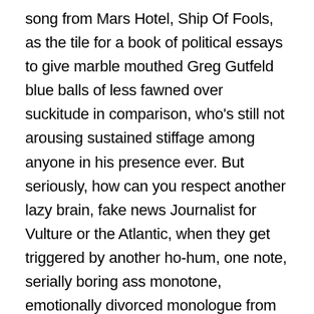song from Mars Hotel, Ship Of Fools, as the tile for a book of political essays to give marble mouthed Greg Gutfeld blue balls of less fawned over suckitude in comparison, who's still not arousing sustained stiffage among anyone in his presence ever. But seriously, how can you respect another lazy brain, fake news Journalist for Vulture or the Atlantic, when they get triggered by another ho-hum, one note, serially boring ass monotone, emotionally divorced monologue from Tucker Carlson, when it was his wife hiding in the closet in a sea of leftover dirty, Vineyard Vine boxer briefs when ANTIFA came knocking at his home address in D.C, not the other way around. The same Tucker Carlson who named his book of essays after a Grateful Dead song from Mar' Hotel, in addition to Morrison Hotel by the Doors, which is the double whammy of wannabe be poetic pronounced shame. Tucker Carlson doesn't have one pothead friend left